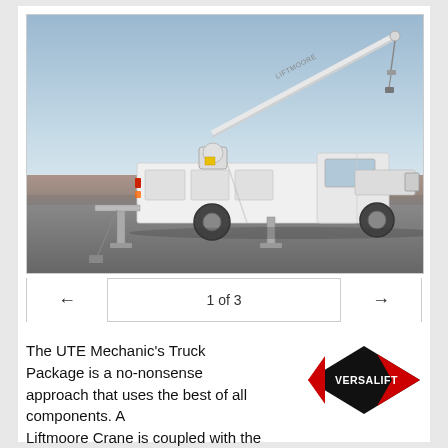[Figure (photo): A white utility mechanic's truck with a Liftmoore crane mounted on the service body, boom extended diagonally upward to the right, outriggers deployed, parked on a paved surface against a light blue sky background.]
1 of 3
The UTE Mechanic's Truck Package is a no-nonsense approach that uses the best of all components. A Liftmoore Crane is coupled with the heavy-duty
[Figure (logo): Versalift logo: black diamond shape with red chevron/arrow pointing right, white text VERSALIFT inside.]